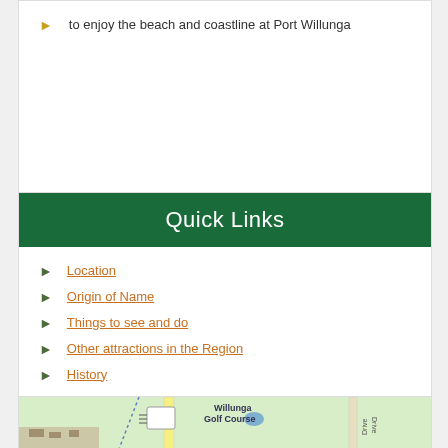to enjoy the beach and coastline at Port Willunga
Quick Links
Location
Origin of Name
Things to see and do
Other attractions in the Region
History
Visitor Information
Useful websites
[Figure (map): Map showing Willunga Golf Course area with road network and surrounding landscape]